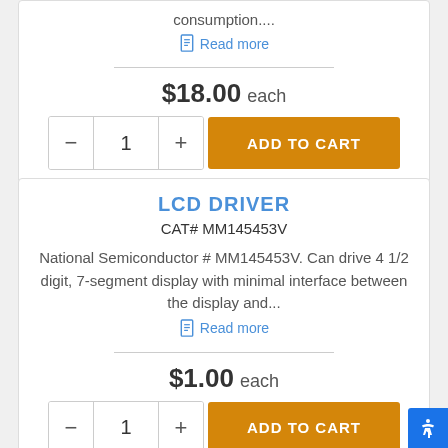consumption....
Read more
$18.00 each
LCD DRIVER
CAT# MM145453V
National Semiconductor # MM145453V. Can drive 4 1/2 digit, 7-segment display with minimal interface between the display and...
Read more
$1.00 each